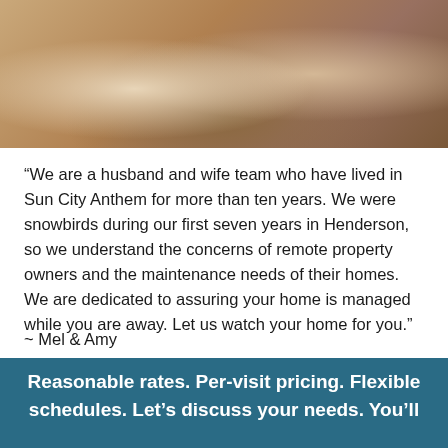[Figure (photo): A photo of a couple (Mel and Amy), cropped at the top of the page showing them seated together.]
“We are a husband and wife team who have lived in Sun City Anthem for more than ten years. We were snowbirds during our first seven years in Henderson, so we understand the concerns of remote property owners and the maintenance needs of their homes. We are dedicated to assuring your home is managed while you are away. Let us watch your home for you.”
~ Mel & Amy
Reasonable rates. Per-visit pricing. Flexible schedules. Let’s discuss your needs. You’ll